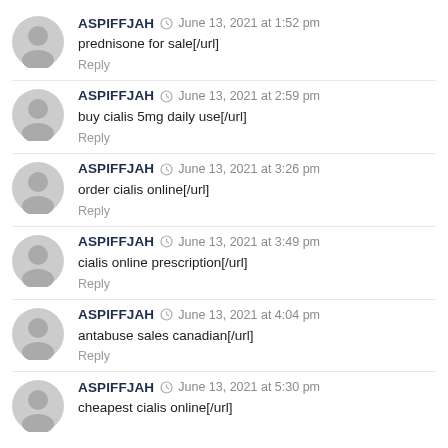ASPIFFJAH · June 13, 2021 at 1:52 pm
prednisone for sale[/url]
Reply
ASPIFFJAH · June 13, 2021 at 2:59 pm
buy cialis 5mg daily use[/url]
Reply
ASPIFFJAH · June 13, 2021 at 3:26 pm
order cialis online[/url]
Reply
ASPIFFJAH · June 13, 2021 at 3:49 pm
cialis online prescription[/url]
Reply
ASPIFFJAH · June 13, 2021 at 4:04 pm
antabuse sales canadian[/url]
Reply
ASPIFFJAH · June 13, 2021 at 5:30 pm
cheapest cialis online[/url]